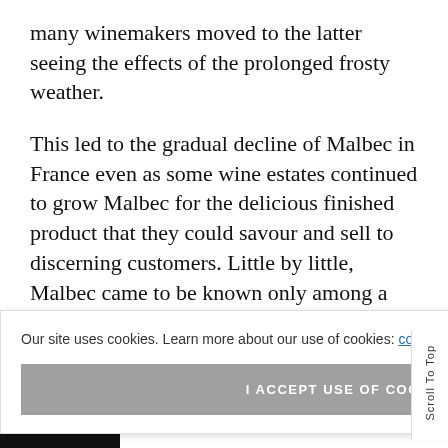many winemakers moved to the latter seeing the effects of the prolonged frosty weather.
This led to the gradual decline of Malbec in France even as some wine estates continued to grow Malbec for the delicious finished product that they could savour and sell to discerning customers. Little by little, Malbec came to be known only among a select group of wine lovers.
Then, in the 1800s, Malbec reached the shores of Argentina
Our site uses cookies. Learn more about our use of cookies: cookie policy
I ACCEPT USE OF COOKIES
Scroll To Top
WINE